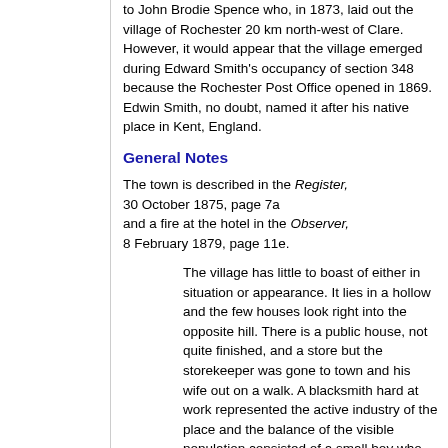to John Brodie Spence who, in 1873, laid out the village of Rochester 20 km north-west of Clare. However, it would appear that the village emerged during Edward Smith's occupancy of section 348 because the Rochester Post Office opened in 1869. Edwin Smith, no doubt, named it after his native place in Kent, England.
General Notes
The town is described in the Register, 30 October 1875, page 7a and a fire at the hotel in the Observer, 8 February 1879, page 11e.
The village has little to boast of either in situation or appearance. It lies in a hollow and the few houses look right into the opposite hill. There is a public house, not quite finished, and a store but the storekeeper was gone to town and his wife out on a walk. A blacksmith hard at work represented the active industry of the place and the balance of the visible population consisted of a small boy who told us we had better go three miles further if we wanted accommodation